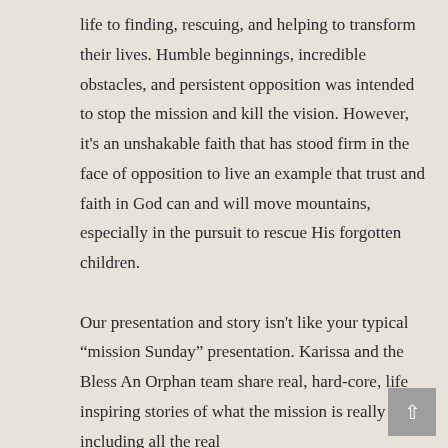life to finding, rescuing, and helping to transform their lives. Humble beginnings, incredible obstacles, and persistent opposition was intended to stop the mission and kill the vision. However, it's an unshakable faith that has stood firm in the face of opposition to live an example that trust and faith in God can and will move mountains, especially in the pursuit to rescue His forgotten children.

Our presentation and story isn't like your typical “mission Sunday” presentation. Karissa and the Bless An Orphan team share real, hard-core, life inspiring stories of what the mission is really like, including all the real